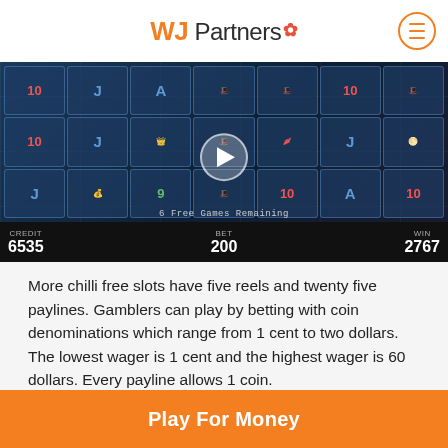WJ Partners
[Figure (screenshot): A video thumbnail of a More Chilli slot machine game showing reels with symbols (10, J, A, mariachi characters), a play button overlay, and a HUD bar showing CREDIT 6535, BET 200, WIN 2767, with text '6 Free Games Remaining']
More chilli free slots have five reels and twenty five paylines. Gamblers can play by betting with coin denominations which range from 1 cent to two dollars. The lowest wager is 1 cent and the highest wager is 60 dollars. Every payline allows 1 coin.
A total of two thousand coins and four thousand dollars may be won by playing More Chilli online slot bonus
Play For Money